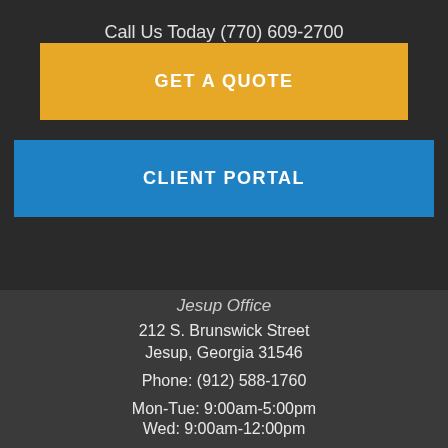Call Us Today (770) 609-2700
GET A QUOTE
CLIENT PORTAL
Jesup Office
212 S. Brunswick Street
Jesup, Georgia 31546
Phone: (912) 588-1760
Mon-Tue: 9:00am-5:00pm
Wed: 9:00am-12:00pm